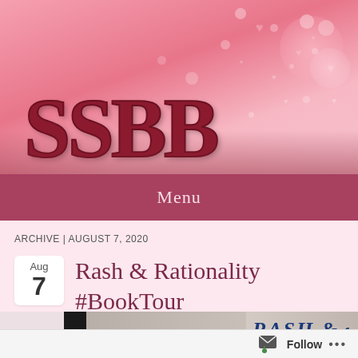[Figure (screenshot): Pink glittery blog header banner with large red letters 'SSBB' and sparkle/heart bokeh effects]
Menu
ARCHIVE | AUGUST 7, 2020
Rash & Rationality #BookTour
[Figure (photo): Book cover photo for 'Rash & Rationality' showing a person and the book title in blue italic lettering]
Follow ...